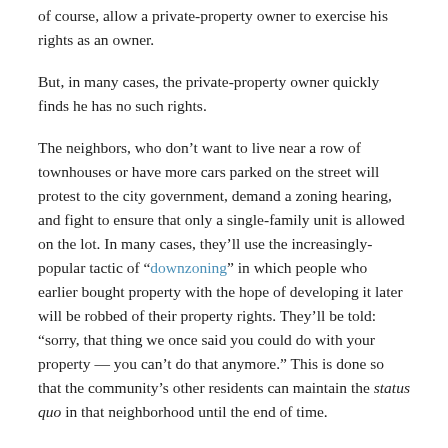of course, allow a private-property owner to exercise his rights as an owner.
But, in many cases, the private-property owner quickly finds he has no such rights.
The neighbors, who don't want to live near a row of townhouses or have more cars parked on the street will protest to the city government, demand a zoning hearing, and fight to ensure that only a single-family unit is allowed on the lot. In many cases, they'll use the increasingly-popular tactic of "downzoning" in which people who earlier bought property with the hope of developing it later will be robbed of their property rights. They'll be told: "sorry, that thing we once said you could do with your property — you can't do that anymore." This is done so that the community's other residents can maintain the status quo in that neighborhood until the end of time.
At the same time, employment continues to expand in nearby commercial areas, so employees — instead of living in inner suburbs — most move further and further outside the urban area and commute on